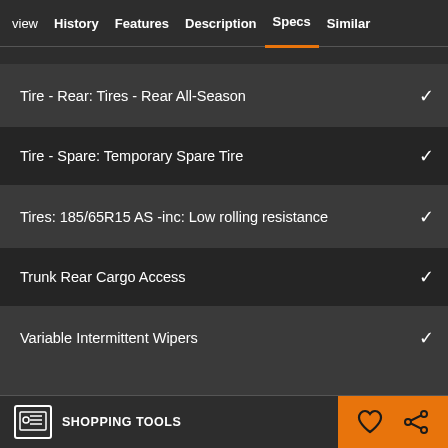view  History  Features  Description  Specs  Similar
Tire - Rear: Tires - Rear All-Season
Tire - Spare: Temporary Spare Tire
Tires: 185/65R15 AS -inc: Low rolling resistance
Trunk Rear Cargo Access
Variable Intermittent Wipers
SHOPPING TOOLS